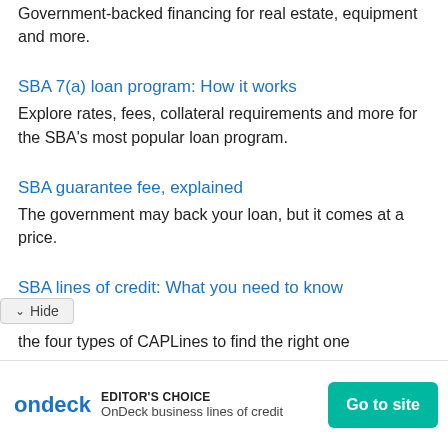Government-backed financing for real estate, equipment and more.
SBA 7(a) loan program: How it works
Explore rates, fees, collateral requirements and more for the SBA's most popular loan program.
SBA guarantee fee, explained
The government may back your loan, but it comes at a price.
SBA lines of credit: What you need to know
the four types of CAPLines to find the right one
EDITOR'S CHOICE | OnDeck business lines of credit | Go to site